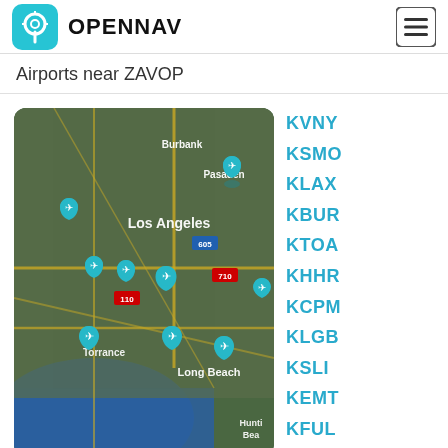OPENNAV
Airports near ZAVOP
[Figure (map): Satellite map of Los Angeles area showing airport location pins (teal airplane markers) near Burbank, Pasadena, Los Angeles, Torrance, Long Beach, and Huntington Beach areas. Highway markers visible: 605, 710, 110.]
KVNY
KSMO
KLAX
KBUR
KTOA
KHHR
KCPM
KLGB
KSLI
KEMT
KFUL